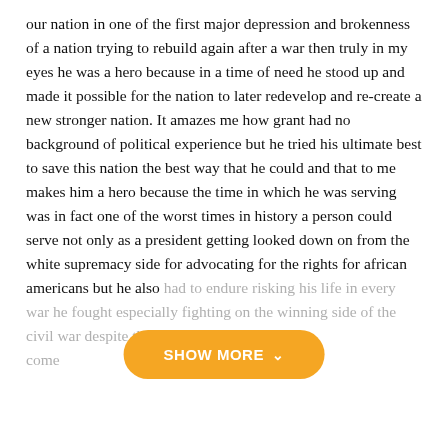our nation in one of the first major depression and brokenness of a nation trying to rebuild again after a war then truly in my eyes he was a hero because in a time of need he stood up and made it possible for the nation to later redevelop and re-create a new stronger nation. It amazes me how grant had no background of political experience but he tried his ultimate best to save this nation the best way that he could and that to me makes him a hero because the time in which he was serving was in fact one of the worst times in history a person could serve not only as a president getting looked down on from the white supremacy side for advocating for the rights for african americans but he also had to endure risking his life in every war he fought especially fighting on the winning side of the civil war despite the fact he come [faded text continues]